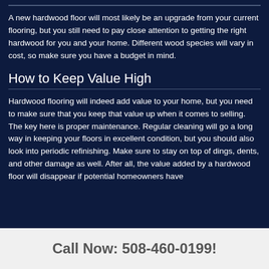A new hardwood floor will most likely be an upgrade from your current flooring, but you still need to pay close attention to getting the right hardwood for you and your home. Different wood species will vary in cost, so make sure you have a budget in mind.
How to Keep Value High
Hardwood flooring will indeed add value to your home, but you need to make sure that you keep that value up when it comes to selling. The key here is proper maintenance. Regular cleaning will go a long way in keeping your floors in excellent condition, but you should also look into periodic refinishing. Make sure to stay on top of dings, dents, and other damage as well. After all, the value added by a hardwood floor will disappear if potential homeowners have
Call Now: 508-460-0199!